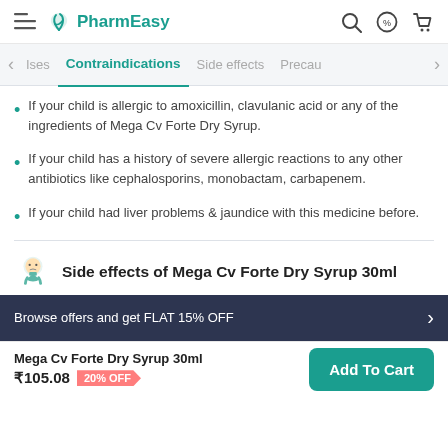PharmEasy
Contraindications | Side effects | Precau
If your child is allergic to amoxicillin, clavulanic acid or any of the ingredients of Mega Cv Forte Dry Syrup.
If your child has a history of severe allergic reactions to any other antibiotics like cephalosporins, monobactam, carbapenem.
If your child had liver problems & jaundice with this medicine before.
Side effects of Mega Cv Forte Dry Syrup 30ml
Browse offers and get FLAT 15% OFF
Mega Cv Forte Dry Syrup 30ml ₹105.08 20% OFF
Add To Cart